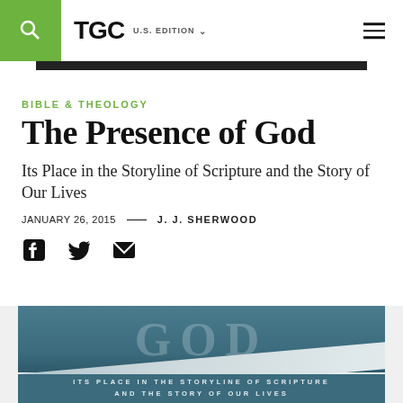TGC U.S. EDITION
BIBLE & THEOLOGY
The Presence of God
Its Place in the Storyline of Scripture and the Story of Our Lives
JANUARY 26, 2015 — J. J. SHERWOOD
[Figure (photo): Book cover showing 'The Presence of God' with teal background and subtitle 'Its Place in the Storyline of Scripture and the Story of Our Lives']